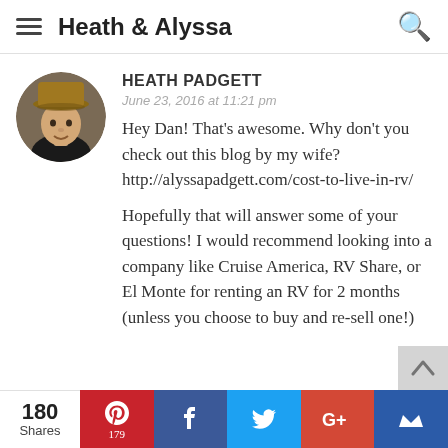Heath & Alyssa
HEATH PADGETT
June 23, 2016 at 11:21 pm
Hey Dan! That's awesome. Why don't you check out this blog by my wife? http://alyssapadgett.com/cost-to-live-in-rv/
Hopefully that will answer some of your questions! I would recommend looking into a company like Cruise America, RV Share, or El Monte for renting an RV for 2 months (unless you choose to buy and re-sell one!)
180 Shares
179